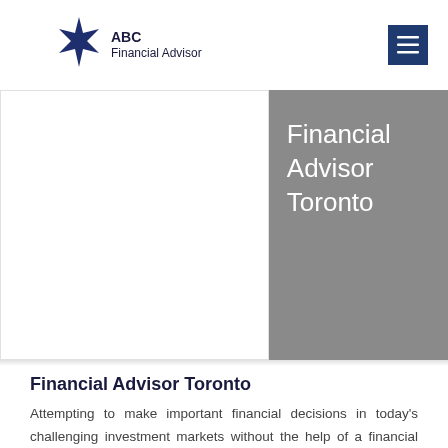ABC Financial Advisor
[Figure (screenshot): Hero banner with white left panel and grey right panel containing 'Financial Advisor Toronto' text]
Financial Advisor Toronto
Attempting to make important financial decisions in today's challenging investment markets without the help of a financial advisor in Toronto might not be a wise